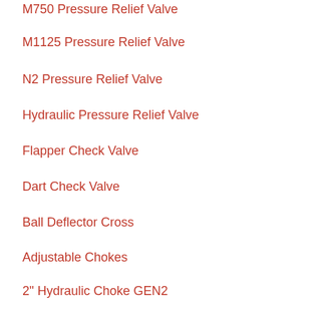M750 Pressure Relief Valve
M1125 Pressure Relief Valve
N2 Pressure Relief Valve
Hydraulic Pressure Relief Valve
Flapper Check Valve
Dart Check Valve
Ball Deflector Cross
Adjustable Chokes
2" Hydraulic Choke GEN2
Positive Chokes